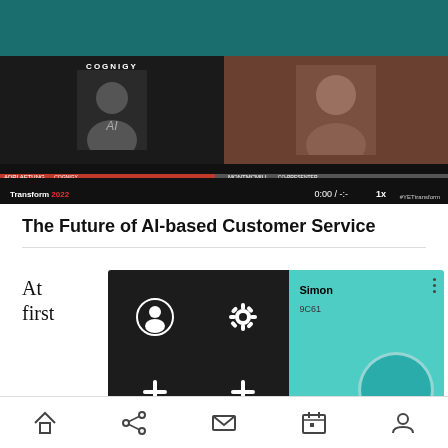[Figure (screenshot): Video player screenshot showing two people on a video call with Cognigy branding. Bottom bar shows '0:00 / -:-' timestamp, '1x' speed, and 'Transform 2022' text with red progress bar and hashtag #YETtransform.]
The Future of AI-based Customer Service
At first
[Figure (screenshot): Mobile app screenshot showing a dark left panel with user icon, gear icon, and two plus icons arranged in a 2x2 grid, and a teal right panel showing 'Simon' with ID '9C61' and a circular avatar.]
Navigation bar with home, share, mail, calendar, and profile icons